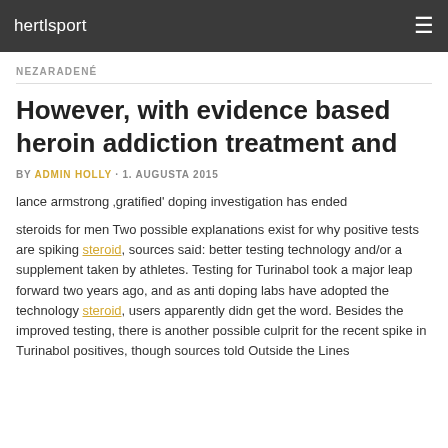hertlsport
NEZARADENÉ
However, with evidence based heroin addiction treatment and
BY ADMIN HOLLY · 1. AUGUSTA 2015
lance armstrong 'gratified' doping investigation has ended
steroids for men Two possible explanations exist for why positive tests are spiking steroid, sources said: better testing technology and/or a supplement taken by athletes. Testing for Turinabol took a major leap forward two years ago, and as anti doping labs have adopted the technology steroid, users apparently didn get the word. Besides the improved testing, there is another possible culprit for the recent spike in Turinabol positives, though sources told Outside the Lines